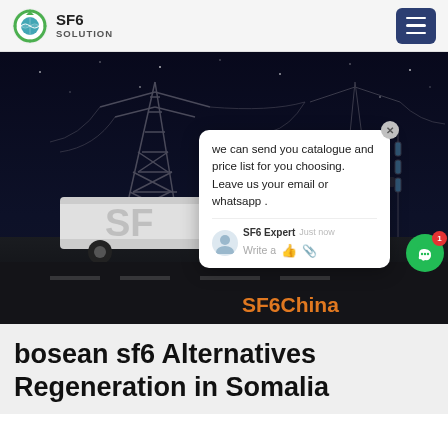SF6 SOLUTION
[Figure (photo): Night-time electrical substation scene with transmission towers and a white SF6 service vehicle. A chat popup overlay is visible showing a message from SF6 Expert: 'we can send you catalogue and price list for you choosing. Leave us your email or whatsapp.' with SF6China watermark in orange.]
bosean sf6 Alternatives Regeneration in Somalia